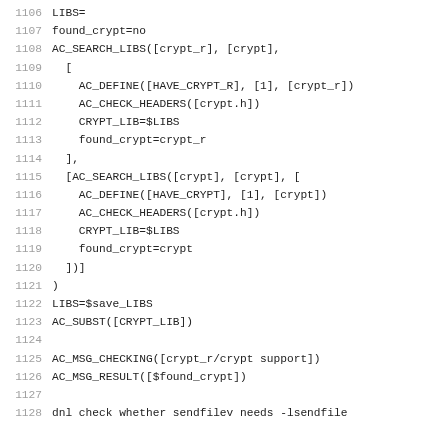1106  LIBS=
1107  found_crypt=no
1108  AC_SEARCH_LIBS([crypt_r], [crypt],
1109    [
1110      AC_DEFINE([HAVE_CRYPT_R], [1], [crypt_r])
1111      AC_CHECK_HEADERS([crypt.h])
1112      CRYPT_LIB=$LIBS
1113      found_crypt=crypt_r
1114    ],
1115    [AC_SEARCH_LIBS([crypt], [crypt], [
1116      AC_DEFINE([HAVE_CRYPT], [1], [crypt])
1117      AC_CHECK_HEADERS([crypt.h])
1118      CRYPT_LIB=$LIBS
1119      found_crypt=crypt
1120    ])]
1121  )
1122  LIBS=$save_LIBS
1123  AC_SUBST([CRYPT_LIB])
1124  
1125  AC_MSG_CHECKING([crypt_r/crypt support])
1126  AC_MSG_RESULT([$found_crypt])
1127  
1128  dnl check whether sendfilev needs -lsendfile